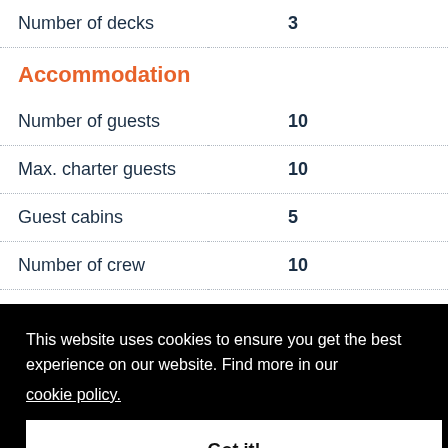| Specification | Value |
| --- | --- |
| Number of decks | 3 |
| Number of guests | 10 |
| Max. charter guests | 10 |
| Guest cabins | 5 |
| Number of crew | 10 |
| Fuel capacity | 79,000L (20,869.588g) |
Accommodation
This website uses cookies to ensure you get the best experience on our website. Find more in our cookie policy.
Got it!